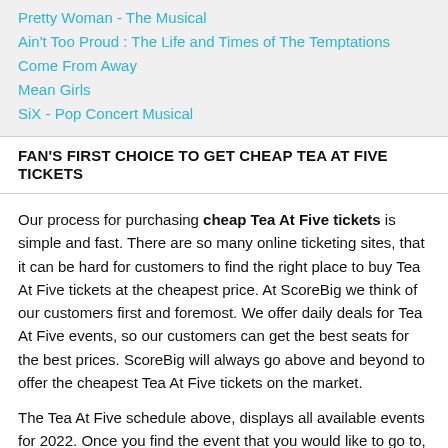Pretty Woman - The Musical
Ain't Too Proud : The Life and Times of The Temptations
Come From Away
Mean Girls
SiX - Pop Concert Musical
FAN'S FIRST CHOICE TO GET CHEAP TEA AT FIVE TICKETS
Our process for purchasing cheap Tea At Five tickets is simple and fast. There are so many online ticketing sites, that it can be hard for customers to find the right place to buy Tea At Five tickets at the cheapest price. At ScoreBig we think of our customers first and foremost. We offer daily deals for Tea At Five events, so our customers can get the best seats for the best prices. ScoreBig will always go above and beyond to offer the cheapest Tea At Five tickets on the market.
The Tea At Five schedule above, displays all available events for 2022. Once you find the event that you would like to go to, click the red "Get Tickets" button. It is located on the right-hand side of the event listing, it will take you to an Tea At Five event ticket page. ScoreBig's event ticket page will display all available Tea At